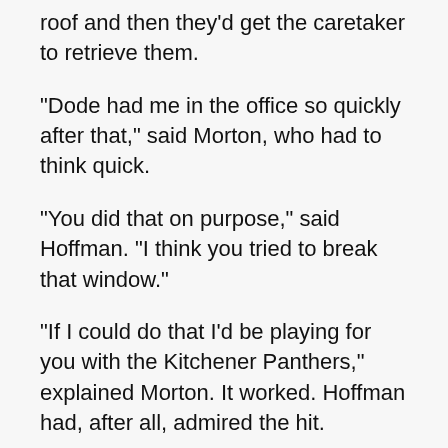roof and then they'd get the caretaker to retrieve them.
"Dode had me in the office so quickly after that," said Morton, who had to think quick.
"You did that on purpose," said Hoffman. "I think you tried to break that window."
"If I could do that I'd be playing for you with the Kitchener Panthers," explained Morton. It worked. Hoffman had, after all, admired the hit.
"Get outta here," he said to Morton.
"I remember the Civic Service Club